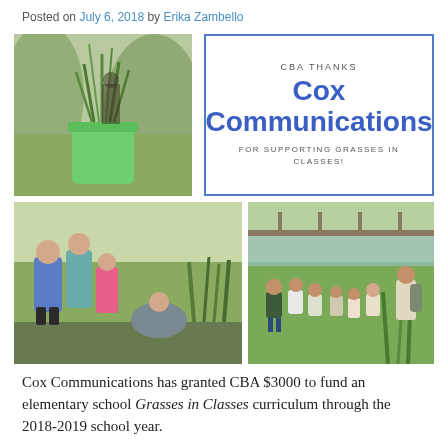Posted on July 6, 2018 by Erika Zambello
[Figure (photo): Collage of three photos: top-left shows grass seedlings in a green bucket; top-right is a framed thank-you box reading 'CBA THANKS Cox Communications FOR SUPPORTING GRASSES IN CLASSES!'; bottom-left shows adults and children planting in a marsh; bottom-right shows a group of children walking along a waterway path.]
Cox Communications has granted CBA $3000 to fund an elementary school Grasses in Classes curriculum through the 2018-2019 school year.